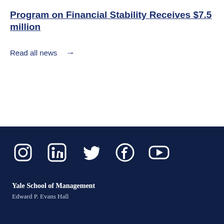Program on Financial Stability Receives $7.5 million
Read all news →
Social media icons: Instagram, LinkedIn, Twitter, Facebook, YouTube. Yale School of Management. Edward P. Evans Hall.